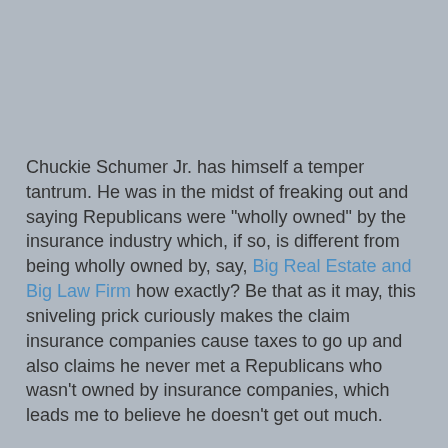Chuckie Schumer Jr. has himself a temper tantrum. He was in the midst of freaking out and saying Republicans were "wholly owned" by the insurance industry which, if so, is different from being wholly owned by, say, Big Real Estate and Big Law Firm how exactly? Be that as it may, this sniveling prick curiously makes the claim insurance companies cause taxes to go up and also claims he never met a Republicans who wasn't owned by insurance companies, which leads me to believe he doesn't get out much.
Notice the angry, threatening tone toward the end. By this time next year he'll probably have to be sedated after his House floor meltdowns.
JammieWearingFool at 7:43 PM   No comments: